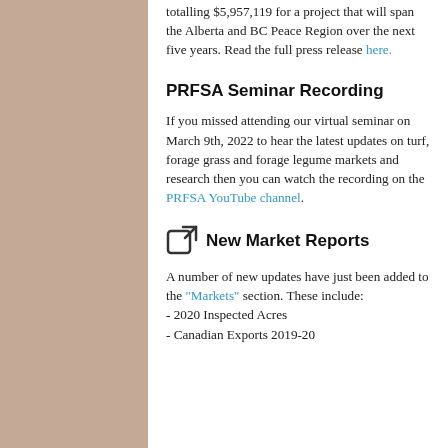totalling $5,957,119 for a project that will span the Alberta and BC Peace Region over the next five years. Read the full press release here.
PRFSA Seminar Recording
If you missed attending our virtual seminar on March 9th, 2022 to hear the latest updates on turf, forage grass and forage legume markets and research then you can watch the recording on the PRFSA YouTube channel.
New Market Reports
A number of new updates have just been added to the "Markets" section. These include:
- 2020 Inspected Acres
- Canadian Exports 2019-20